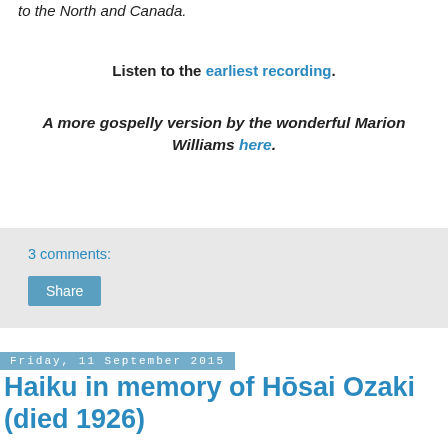to the North and Canada.
Listen to the earliest recording.
A more gospelly version by the wonderful Marion Williams here.
3 comments:
Share
Friday, 11 September 2015
Haiku in memory of Hōsai Ozaki (died 1926)
Long and transparent like a bottle he was fond and died of it.
(Contrary to widespread Occidental belief